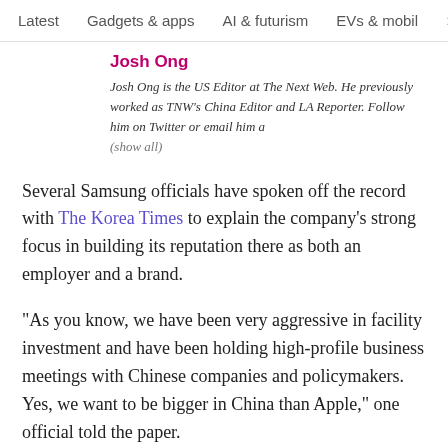Latest   Gadgets & apps   AI & futurism   EVs & mobil  >
Josh Ong
Josh Ong is the US Editor at The Next Web. He previously worked as TNW's China Editor and LA Reporter. Follow him on Twitter or email him a (show all)
Several Samsung officials have spoken off the record with The Korea Times to explain the company's strong focus in building its reputation there as both an employer and a brand.
“As you know, we have been very aggressive in facility investment and have been holding high-profile business meetings with Chinese companies and policymakers. Yes, we want to be bigger in China than Apple,” one official told the paper.